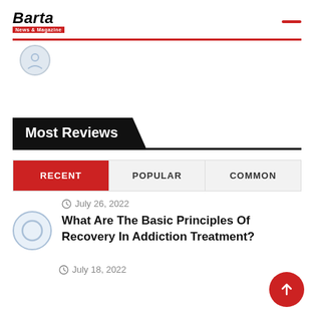Barta News & Magazine
Most Reviews
RECENT | POPULAR | COMMON
July 26, 2022
What Are The Basic Principles Of Recovery In Addiction Treatment?
July 18, 2022